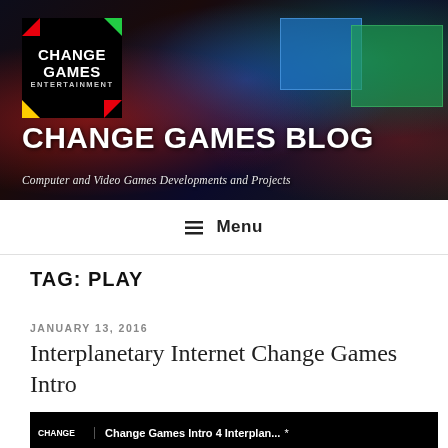[Figure (photo): Gaming event banner with arena crowd, colored stage lighting (red, blue, green), large display screens, and Change Games Entertainment logo overlay]
CHANGE GAMES BLOG
Computer and Video Games Developments and Projects
☰ Menu
TAG: PLAY
JANUARY 13, 2016
Interplanetary Internet Change Games Intro
[Figure (screenshot): Black video thumbnail with Change Games logo on left and partial title text reading Change Games Intro 4 Interplane...]